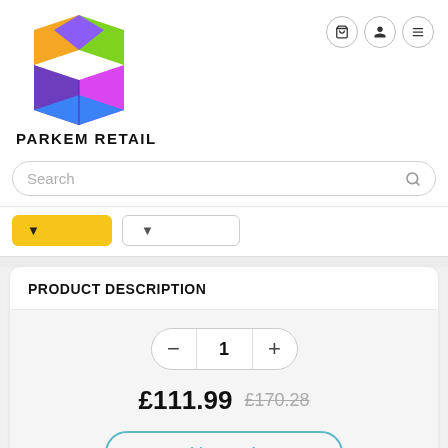[Figure (logo): Parkem Retail colorful open box logo with orange, green, purple, magenta and blue geometric shapes]
PARKEM RETAIL
Search
PRODUCT DESCRIPTION
1
£111.99  £170.28
Add to Basket